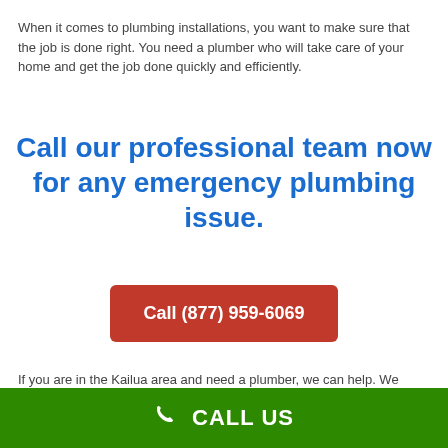When it comes to plumbing installations, you want to make sure that the job is done right. You need a plumber who will take care of your home and get the job done quickly and efficiently.
Call our professional team now for any emergency plumbing issue.
Call (877) 959-6069
If you are in the Kailua area and need a plumber, we can help. We have all of the knowledge and skills to fix any plumbing problem that you may face! Whether it is a small leak or a major repair, we will be able to get your plumbing system up and running again.
CALL US